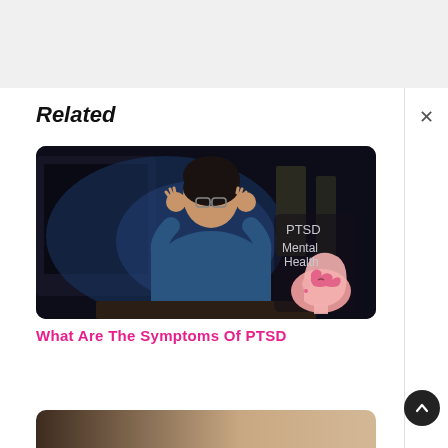Related
[Figure (photo): A woman in a blue long-sleeve shirt sitting at a computer desk, holding her head in her hands in distress, in a dark room. An illustrated brain diagram label reads 'PTSD Mental Health' with a pink head/brain illustration overlaid on the bottom right of the photo.]
What Are The Symptoms Of PTSD